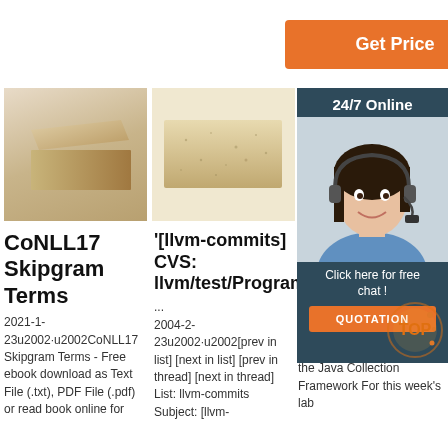[Figure (screenshot): Orange 'Get Price' button]
[Figure (photo): Three brick/refractory material images in a row, plus a customer support chat panel overlay on the right showing a woman with headset, '24/7 Online' text, 'Click here for free chat!' and a QUOTATION button]
CoNLL17 Skipgram Terms
'[llvm-commits] CVS: llvm/test/Programs/M...
[Solve 9: Se... Colle Fram For ...
2021-1-23u2002·u2002CoNLL17 Skipgram Terms - Free ebook download as Text File (.txt), PDF File (.pdf) or read book online for
2004-2-23u2002·u2002[prev in list] [next in list] [prev in thread] [next in thread] List: llvm-commits Subject: [llvm-
Answer to Lab 9: Sets in the Java Collection Framework For this week's lab